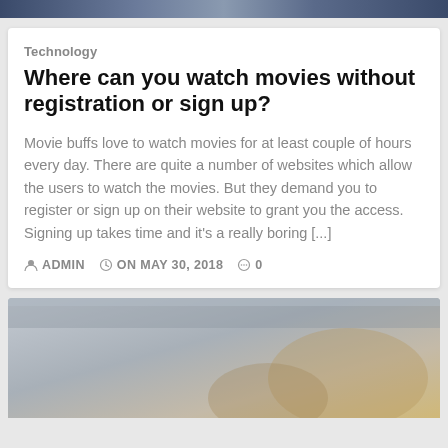[Figure (photo): Top portion of an image showing people, appears to be a group photo with blue tones]
Technology
Where can you watch movies without registration or sign up?
Movie buffs love to watch movies for at least couple of hours every day. There are quite a number of websites which allow the users to watch the movies. But they demand you to register or sign up on their website to grant you the access. Signing up takes time and it's a really boring [...]
ADMIN  ON MAY 30, 2018  0
[Figure (photo): Bottom image showing hands or a desk scene in grey and warm tones]